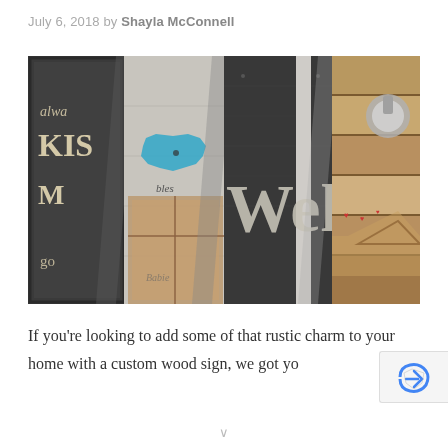July 6, 2018 by Shayla McConnell
[Figure (photo): Collage of four rustic wood signs: (1) dark chalkboard-style sign with painted white letters reading 'always kiss me goodnight', (2) white distressed wood sign with blue state silhouette and 'blessed', (3) dark weathered wood 'Welcome' sign, (4) reclaimed pallet wood heart art piece.]
If you're looking to add some of that rustic charm to your home with a custom wood sign, we got yo